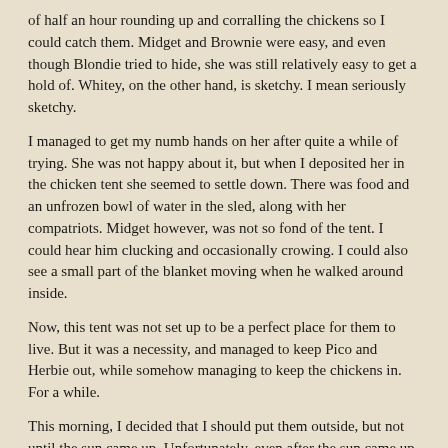of half an hour rounding up and corralling the chickens so I could catch them.  Midget and Brownie were easy, and even though Blondie tried to hide, she was still relatively easy to get a hold of.  Whitey, on the other hand, is sketchy.  I mean seriously sketchy.
I managed to get my numb hands on her after quite a while of trying.  She was not happy about it, but when I deposited her in the chicken tent she seemed to settle down.  There was food and an unfrozen bowl of water in the sled, along with her compatriots.  Midget however, was not so fond of the tent.  I could hear him clucking and occasionally crowing.  I could also see a small part of the blanket moving when he walked around inside.
Now, this tent was not set up to be a perfect place for them to live.  But it was a necessity, and managed to keep Pico and Herbie out, while somehow managing to keep the chickens in.  For a while.
This morning, I decided that I should put them outside, but not until the sun came up.  Unfortunately, even after the sun came up, it was still well below zero outside, like twenty below zero.  I had to run to town, and decided that Pico should come with me.  He's not a killer per se, but I have no doubt that he would have found his way into the chicken tent and caused havoc.  Best case scenario if I left him home:  Chicken crap everywhere in my house.  It was not a risk I was willing to take.
So off we went, while the chickens camped out in the balmy interior of my cabin.  When we got home, I was torn on whether to put them outside.  It was sunny and deceivingly pleasant looking outside, but the temperature never really got above zero.  With Midget and Whitey showing frostbite on